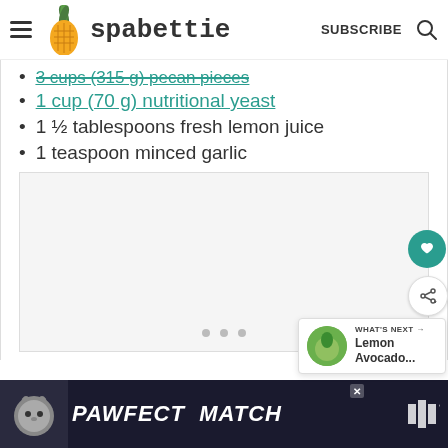spabettie — SUBSCRIBE
3 cups (315 g) pecan pieces (strikethrough link)
1 cup (70 g) nutritional yeast
1 ½ tablespoons fresh lemon juice
1 teaspoon minced garlic
[Figure (other): Recipe card placeholder with navigation dots]
WHAT'S NEXT → Lemon Avocado...
[Figure (other): PAWFECT MATCH advertisement banner with cat image]